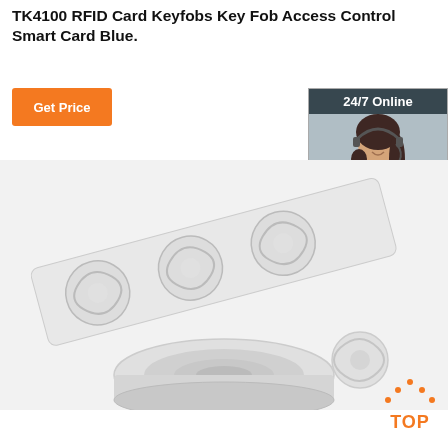TK4100 RFID Card Keyfobs Key Fob Access Control Smart Card Blue.
[Figure (other): Orange 'Get Price' button]
[Figure (other): 24/7 Online customer support sidebar widget with photo of woman with headset, 'Click here for free chat!' text, and orange QUOTATION button]
[Figure (photo): Product photo of a roll of white RFID sticker tags on a tape roll, with circular RFID inlay patterns visible on the strip]
[Figure (other): Orange TOP badge with dot-outline house shape above the word TOP]